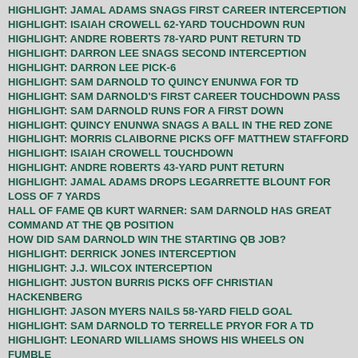HIGHLIGHT: JAMAL ADAMS SNAGS FIRST CAREER INTERCEPTION
HIGHLIGHT: ISAIAH CROWELL 62-YARD TOUCHDOWN RUN
HIGHLIGHT: ANDRE ROBERTS 78-YARD PUNT RETURN TD
HIGHLIGHT: DARRON LEE SNAGS SECOND INTERCEPTION
HIGHLIGHT: DARRON LEE PICK-6
HIGHLIGHT: SAM DARNOLD TO QUINCY ENUNWA FOR TD
HIGHLIGHT: SAM DARNOLD'S FIRST CAREER TOUCHDOWN PASS
HIGHLIGHT: SAM DARNOLD RUNS FOR A FIRST DOWN
HIGHLIGHT: QUINCY ENUNWA SNAGS A BALL IN THE RED ZONE
HIGHLIGHT: MORRIS CLAIBORNE PICKS OFF MATTHEW STAFFORD
HIGHLIGHT: ISAIAH CROWELL TOUCHDOWN
HIGHLIGHT: ANDRE ROBERTS 43-YARD PUNT RETURN
HIGHLIGHT: JAMAL ADAMS DROPS LEGARRETTE BLOUNT FOR LOSS OF 7 YARDS
HALL OF FAME QB KURT WARNER: SAM DARNOLD HAS GREAT COMMAND AT THE QB POSITION
HOW DID SAM DARNOLD WIN THE STARTING QB JOB?
HIGHLIGHT: DERRICK JONES INTERCEPTION
HIGHLIGHT: J.J. WILCOX INTERCEPTION
HIGHLIGHT: JUSTON BURRIS PICKS OFF CHRISTIAN HACKENBERG
HIGHLIGHT: JASON MYERS NAILS 58-YARD FIELD GOAL
HIGHLIGHT: SAM DARNOLD TO TERRELLE PRYOR FOR A TD
HIGHLIGHT: LEONARD WILLIAMS SHOWS HIS WHEELS ON FUMBLE